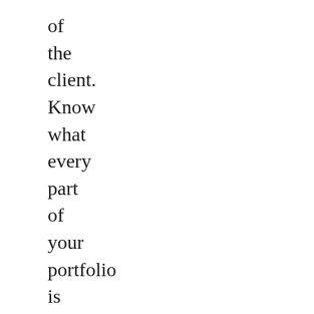of the client. Know what every part of your portfolio is doing, and subject each part to a